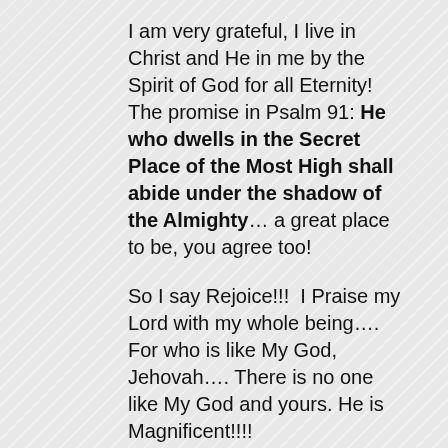I am very grateful, I live in Christ and He in me by the Spirit of God for all Eternity!  The promise in Psalm 91: He who dwells in the Secret Place of the Most High shall abide under the shadow of the Almighty… a great place to be, you agree too!
So I say Rejoice!!!  I Praise my Lord with my whole being…. For who is like My God, Jehovah…. There is no one like My God and yours. He is Magnificent!!!!
How do you develop your ears to hear His Sweet Gentle Voice?   This is the way of apprehending the One we love…  We prepare for the